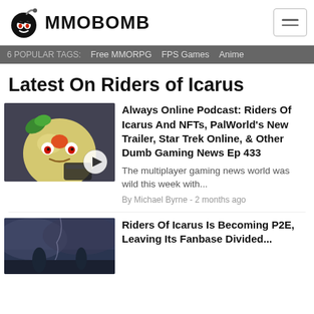MMOBOMB
6 POPULAR TAGS: Free MMORPG  FPS Games  Anime
Latest On Riders of Icarus
[Figure (screenshot): Thumbnail image of a Palworld creature (round, yellow, with red eyes and leaf accessories) holding a weapon, with a play button overlay]
Always Online Podcast: Riders Of Icarus And NFTs, PalWorld's New Trailer, Star Trek Online, & Other Dumb Gaming News Ep 433
The multiplayer gaming news world was wild this week with...
By Michael Byrne - 2 months ago
[Figure (screenshot): Thumbnail image of a dark fantasy scene with characters and stormy sky]
Riders Of Icarus Is Becoming P2E, Leaving Its Fanbase Divided...